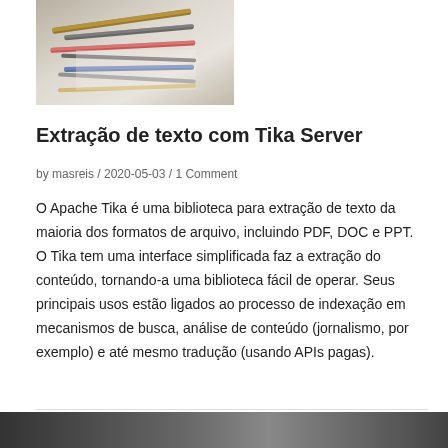[Figure (photo): Photo of pencils and pens on a white surface, viewed from above]
Extração de texto com Tika Server
by masreis / 2020-05-03 / 1 Comment
O Apache Tika é uma biblioteca para extração de texto da maioria dos formatos de arquivo, incluindo PDF, DOC e PPT. O Tika tem uma interface simplificada faz a extração do conteúdo, tornando-a uma biblioteca fácil de operar. Seus principais usos estão ligados ao processo de indexação em mecanismos de busca, análise de conteúdo (jornalismo, por exemplo) e até mesmo tradução (usando APIs pagas).
[Figure (photo): Partial photo at bottom of page, dark tones]